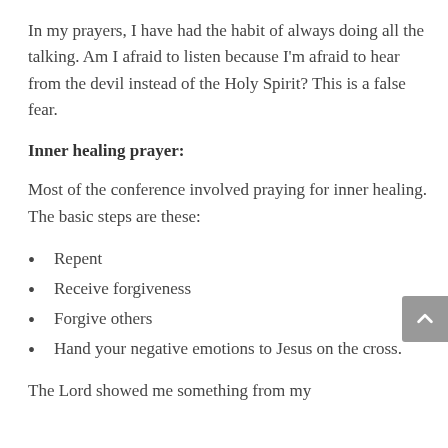In my prayers, I have had the habit of always doing all the talking. Am I afraid to listen because I'm afraid to hear from the devil instead of the Holy Spirit? This is a false fear.
Inner healing prayer:
Most of the conference involved praying for inner healing.  The basic steps are these:
Repent
Receive forgiveness
Forgive others
Hand your negative emotions to Jesus on the cross.
The Lord showed me something from my